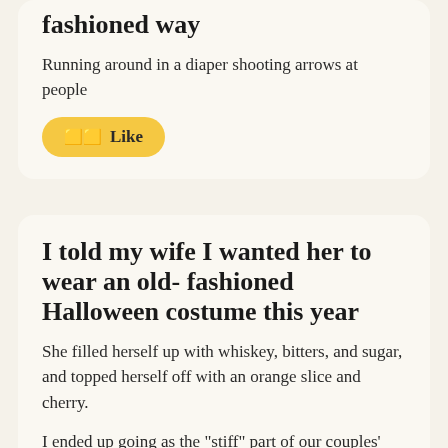fashioned way
Running around in a diaper shooting arrows at people
Like
I told my wife I wanted her to wear an old- fashioned Halloween costume this year
She filled herself up with whiskey, bitters, and sugar, and topped herself off with an orange slice and cherry.
I ended up going as the "stiff" part of our couples' costume.